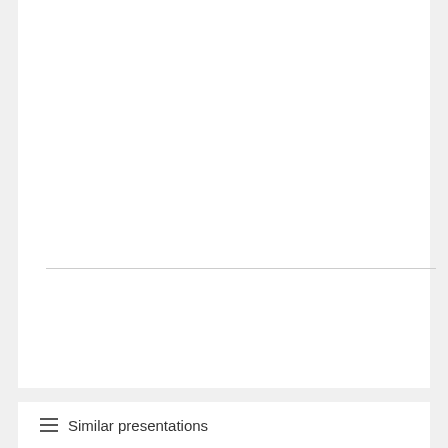Download ppt "CoWoS　Fan-Out Process Flow"
≡ Similar presentations